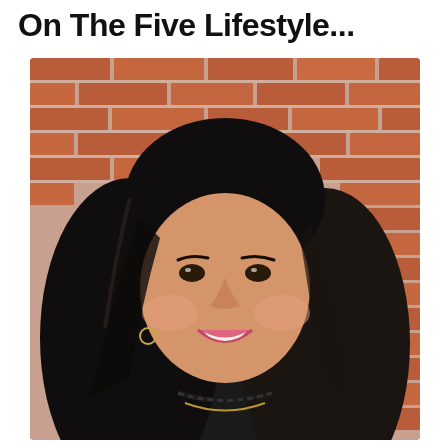On The Five Lifestyle...
[Figure (photo): Portrait photo of a smiling woman with long dark wavy hair, wearing a black top and layered chain necklaces, standing in front of a brick wall background.]